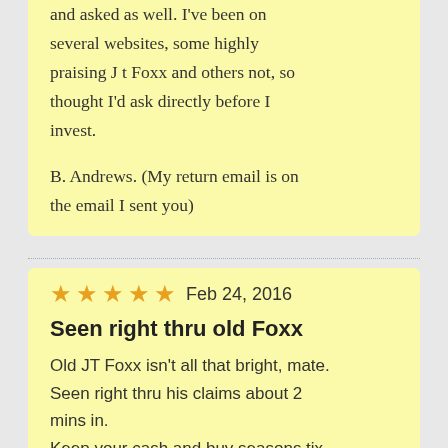and asked as well. I've been on several websites, some highly praising J t Foxx and others not, so thought I'd ask directly before I invest.

B. Andrews. (My return email is on the email I sent you)
★★★★★ Feb 24, 2016
Seen right thru old Foxx
Old JT Foxx isn't all that bright, mate. Seen right thru his claims about 2 mins in.
Keep your cash and buy seasons tix to your favorite footie team.